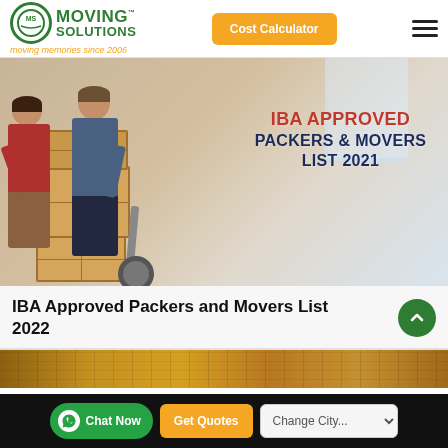Moving Solutions — moving memories since 2006 | Cost Calculator
[Figure (photo): Two men packing cardboard boxes onto a dolly in a home setting. Bold text overlay reads: IBA APPROVED PACKERS & MOVERS LIST 2021]
IBA Approved Packers and Movers List 2022
[Figure (photo): Partial view of a wooden surface or furniture item, cropped at top of image]
Chat Now | Get Quotes | Change City...